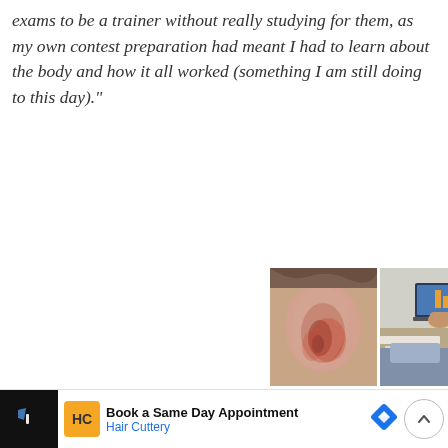exams to be a trainer without really studying for them, as my own contest preparation had meant I had to learn about the body and how it all worked (something I am still doing to this day)."'
[Figure (photo): Two advertisement cards side by side: left card shows a close-up photo of a human ear with redness, captioned 'Doctor: if You Suffer from Ringing Ears. D...' from HealthyLifeYes; right card shows people at a business meeting with a laptop, captioned 'wayforth llc Account Executive/Mana...' from jobble.com. Below are small ad icons.]
[Figure (infographic): Bottom advertisement bar: Hair Cuttery ad with orange HC logo, text 'Book a Same Day Appointment' and 'Hair Cuttery' in blue, blue diamond navigation icon, and a scroll-to-top circular button with upward chevron.]